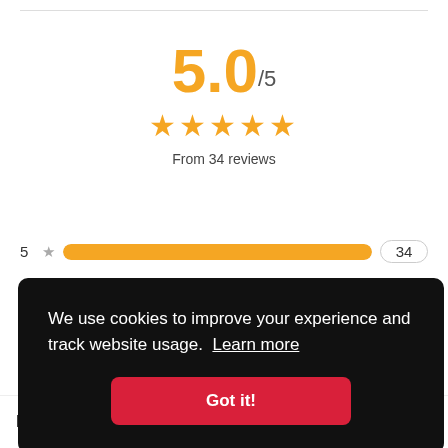5.0/5
[Figure (other): Five gold stars rating display]
From 34 reviews
5 ★ 34
We use cookies to improve your experience and track website usage. Learn more
Got it!
Price: $59.00
VIEW ON AMAZON